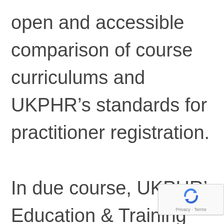open and accessible comparison of course curriculums and UKPHR's standards for practitioner registration.

In due course, UKPHR's Education & Training Committee will review the mappings that
[Figure (other): reCAPTCHA badge with Google logo and Privacy · Terms text]